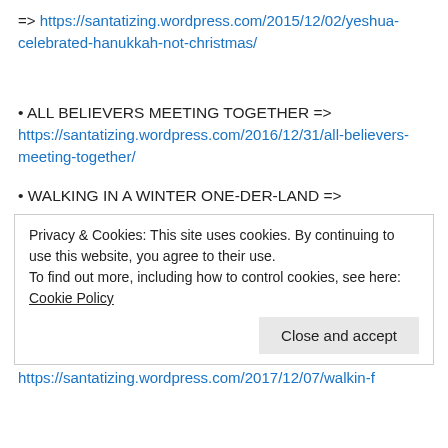=> https://santatizing.wordpress.com/2015/12/02/yeshua-celebrated-hanukkah-not-christmas/
• ALL BELIEVERS MEETING TOGETHER => https://santatizing.wordpress.com/2016/12/31/all-believers-meeting-together/
• WALKING IN A WINTER ONE-DER-LAND =>
Privacy & Cookies: This site uses cookies. By continuing to use this website, you agree to their use.
To find out more, including how to control cookies, see here: Cookie Policy
Close and accept
https://santatizing.wordpress.com/2017/12/07/walkin-f